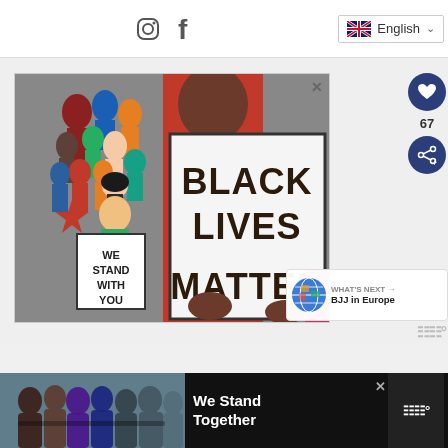English (language selector) | Instagram | Facebook icons
[Figure (illustration): Colorful illustration of a crowd of diverse people at a protest. A figure in a red shirt holds a large sign reading 'BLACK LIVES MATTER'. Another figure holds a smaller sign reading 'WE STAND WITH YOU'.]
[Figure (infographic): What's Next banner showing globe icon and text 'WHAT'S NEXT → BJJ in Europe']
[Figure (photo): Bottom banner ad with photo of group of people standing with arms around each other, text reads 'We Stand Together']
67
WHAT'S NEXT → BJJ in Europe